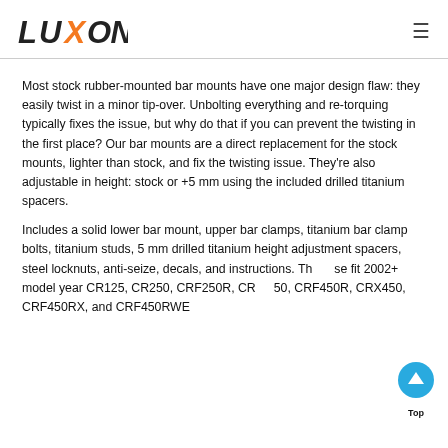LUXON [logo]
Most stock rubber-mounted bar mounts have one major design flaw: they easily twist in a minor tip-over. Unbolting everything and re-torquing typically fixes the issue, but why do that if you can prevent the twisting in the first place? Our bar mounts are a direct replacement for the stock mounts, lighter than stock, and fix the twisting issue. They're also adjustable in height: stock or +5 mm using the included drilled titanium spacers.
Includes a solid lower bar mount, upper bar clamps, titanium bar clamp bolts, titanium studs, 5 mm drilled titanium height adjustment spacers, steel locknuts, anti-seize, decals, and instructions. These fit 2002+ model year CR125, CR250, CRF250R, CRF350, CRF450R, CRX450, CRF450RX, and CRF450RWE